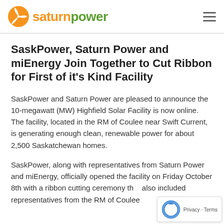saturnpower
SaskPower, Saturn Power and miEnergy Join Together to Cut Ribbon for First of it's Kind Facility
SaskPower and Saturn Power are pleased to announce the 10-megawatt (MW) Highfield Solar Facility is now online. The facility, located in the RM of Coulee near Swift Current, is generating enough clean, renewable power for about 2,500 Saskatchewan homes.
SaskPower, along with representatives from Saturn Power and miEnergy, officially opened the facility on Friday October 8th with a ribbon cutting ceremony that also included representatives from the RM of Coulee